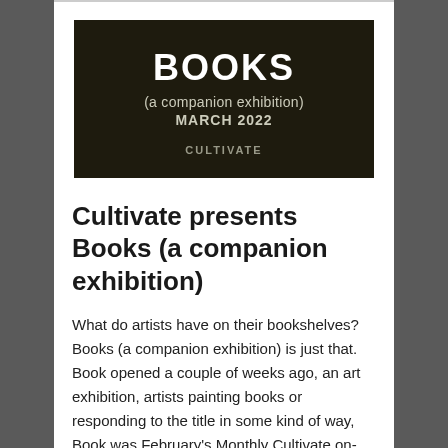[Figure (illustration): Dark brown/olive book cover image with white bold text 'BOOKS', subtitle '(a companion exhibition)', date 'MARCH 2022', and publisher 'CULTIVATE' at bottom center.]
Cultivate presents Books (a companion exhibition)
What do artists have on their bookshelves? Books (a companion exhibition) is just that. Book opened a couple of weeks ago, an art exhibition, artists painting books or responding to the title in some kind of way, Book was February's Monthly Cultivate on-line art show, this is a smaller companion exhibition (the March show, Impart,...